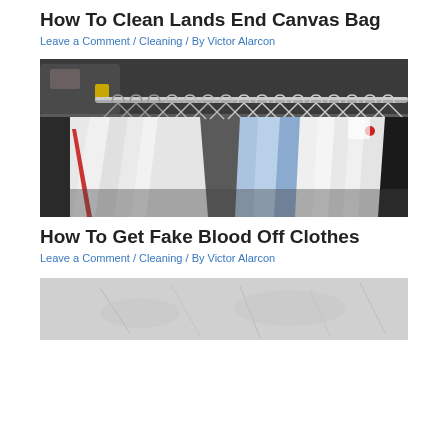How To Clean Lands End Canvas Bag
Leave a Comment / Cleaning / By Victor Alarcon
[Figure (photo): Photo of white dress shirts hanging on metal hangers on a clothing rack in what appears to be a dry cleaning or laundry facility, with some light blue shirts visible among the white ones.]
How To Get Fake Blood Off Clothes
Leave a Comment / Cleaning / By Victor Alarcon
[Figure (photo): Partially visible photo at bottom of page, appears to show a light grey or white textured background with faint line marks.]